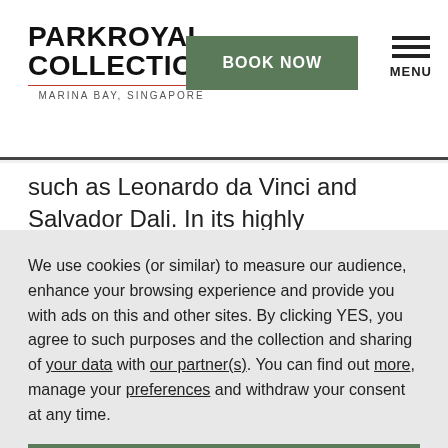[Figure (logo): PARKROYAL COLLECTION logo with MARINA BAY, SINGAPORE subtitle]
BOOK NOW
MENU
such as Leonardo da Vinci and Salvador Dali. In its highly popular permanent exhibition, Future World, you can
We use cookies (or similar) to measure our audience, enhance your browsing experience and provide you with ads on this and other sites. By clicking YES, you agree to such purposes and the collection and sharing of your data with our partner(s). You can find out more, manage your preferences and withdraw your consent at any time.
YES
NO
MANAGE COOKIE PREFERENCES